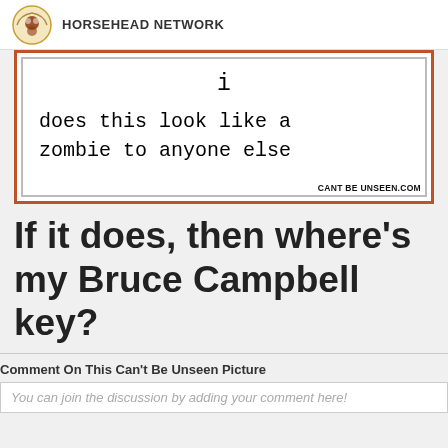HORSEHEAD NETWORK
[Figure (screenshot): Meme image showing a keyboard 'i' key in a white box with orange border, with monospace text reading 'i' then 'does this look like a zombie to anyone else', watermark: CANT BE UNSEEN.COM]
If it does, then where's my Bruce Campbell key?
Comment On This Can't Be Unseen Picture
You can join the discussion by adding your comment here!